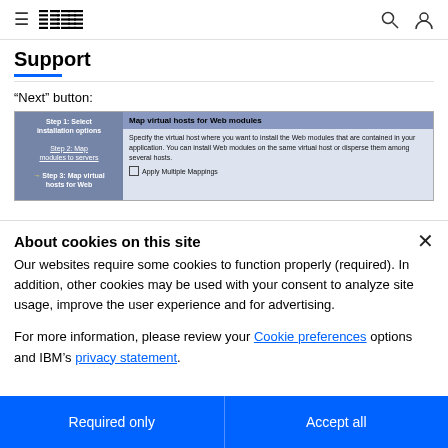IBM Support
Support
“Next” button:
[Figure (screenshot): IBM WebSphere application server installation wizard screenshot showing 'Map virtual hosts for Web modules' panel. Left nav shows Step 1: Select installation options, Step 2: Map modules to servers, Step 3: Map virtual hosts for Web (highlighted). Right panel shows description text and Apply Multiple Mappings checkbox.]
About cookies on this site
Our websites require some cookies to function properly (required). In addition, other cookies may be used with your consent to analyze site usage, improve the user experience and for advertising.

For more information, please review your Cookie preferences options and IBM’s privacy statement.
Required only
Accept all